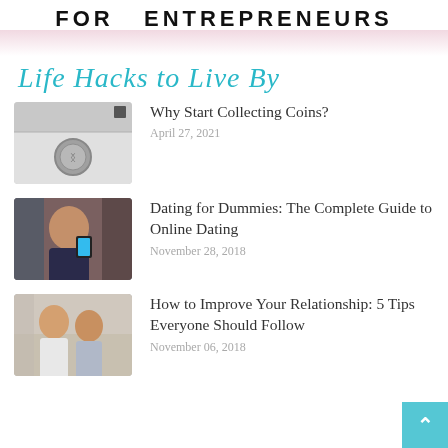FOR   ENTREPRENEURS
Life Hacks to Live By
Why Start Collecting Coins?
April 27, 2021
Dating for Dummies: The Complete Guide to Online Dating
November 28, 2018
How to Improve Your Relationship: 5 Tips Everyone Should Follow
November 06, 2018